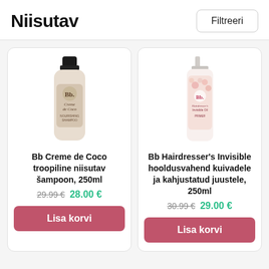Niisutav
Filtreeri
[Figure (photo): Bb Creme de Coco shampoo bottle, 250ml, cream/gold colored bottle with black cap]
Bb Creme de Coco troopiline niisutav šampoon, 250ml
29.99 €  28.00 €
Lisa korvi
[Figure (photo): Bb Hairdresser's Invisible spray bottle, 250ml, white bottle with floral/pink label and spray top]
Bb Hairdresser's Invisible hooldusvahend kuivadele ja kahjustatud juustele, 250ml
30.99 €  29.00 €
Lisa korvi